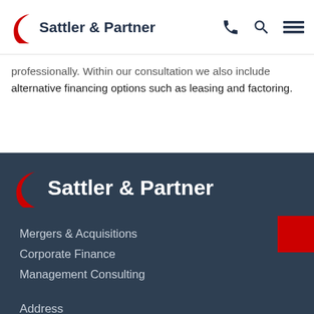Sattler & Partner
professionally. Within our consultation we also include alternative financing options such as leasing and factoring.
[Figure (logo): Sattler & Partner logo with red crescent icon and white bold text on dark background]
Mergers & Acquisitions
Corporate Finance
Management Consulting
Address